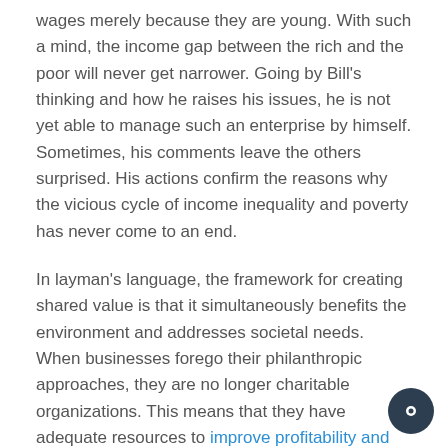wages merely because they are young. With such a mind, the income gap between the rich and the poor will never get narrower. Going by Bill's thinking and how he raises his issues, he is not yet able to manage such an enterprise by himself. Sometimes, his comments leave the others surprised. His actions confirm the reasons why the vicious cycle of income inequality and poverty has never come to an end.
In layman's language, the framework for creating shared value is that it simultaneously benefits the environment and addresses societal needs. When businesses forego their philanthropic approaches, they are no longer charitable organizations. This means that they have adequate resources to improve profitability and environmental performance, which are key societal wellbeing measures (Baron, 2003). In another instance, Bill is observed to appreciate that most Pacific Islanders